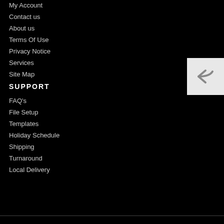My Account
Contact us
About us
Terms Of Use
Privacy Notice
Services
Site Map
SUPPORT
FAQ's
File Setup
Templates
Holiday Schedule
Shipping
Turnaround
Local Delivery
[Figure (illustration): Back/reply arrow button in a light gray square panel on the right side]